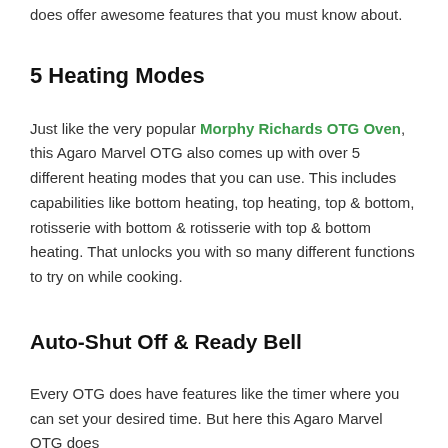does offer awesome features that you must know about.
5 Heating Modes
Just like the very popular Morphy Richards OTG Oven, this Agaro Marvel OTG also comes up with over 5 different heating modes that you can use. This includes capabilities like bottom heating, top heating, top & bottom, rotisserie with bottom & rotisserie with top & bottom heating. That unlocks you with so many different functions to try on while cooking.
Auto-Shut Off & Ready Bell
Every OTG does have features like the timer where you can set your desired time. But here this Agaro Marvel OTG does